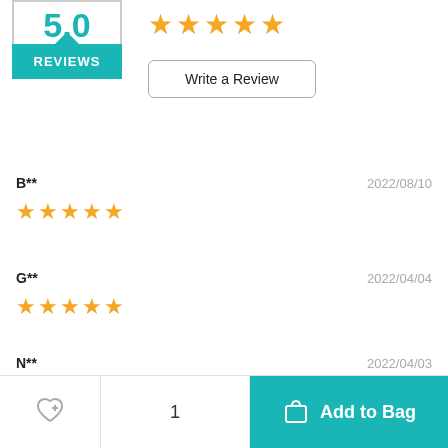[Figure (other): Rating badge showing 5.0 score with teal REVIEWS label]
[Figure (other): 5 gold stars for overall rating]
Write a Review
B**
2022/08/10
[Figure (other): 5 gold stars for review by B**]
G**
2022/04/04
[Figure (other): 5 gold stars for review by G**]
N**
2022/04/03
[Figure (other): 5 gold stars for review by N**]
Add to Bag